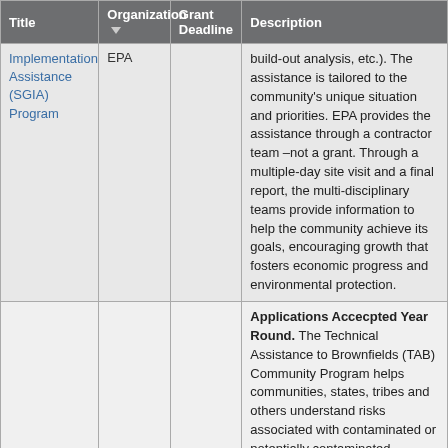| Title | Organization | Grant Deadline | Description |
| --- | --- | --- | --- |
| Implementation Assistance (SGIA) Program | EPA |  | build-out analysis, etc.). The assistance is tailored to the community's unique situation and priorities. EPA provides the assistance through a contractor team –not a grant. Through a multiple-day site visit and a final report, the multi-disciplinary teams provide information to help the community achieve its goals, encouraging growth that fosters economic progress and environmental protection. |
|  |  |  | Applications Accecpted Year Round. The Technical Assistance to Brownfields (TAB) Community Program helps communities, states, tribes and others understand risks associated with contaminated or potentially contaminated properties, can use brownfields, and learn how... |